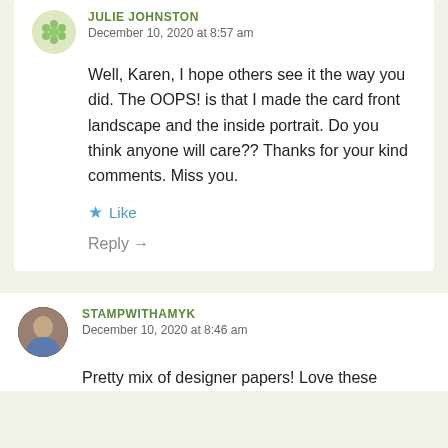JULIE JOHNSTON
December 10, 2020 at 8:57 am
Well, Karen, I hope others see it the way you did. The OOPS! is that I made the card front landscape and the inside portrait. Do you think anyone will care?? Thanks for your kind comments. Miss you.
Like
Reply →
STAMPWITHAMYK
December 10, 2020 at 8:46 am
Pretty mix of designer papers! Love these...